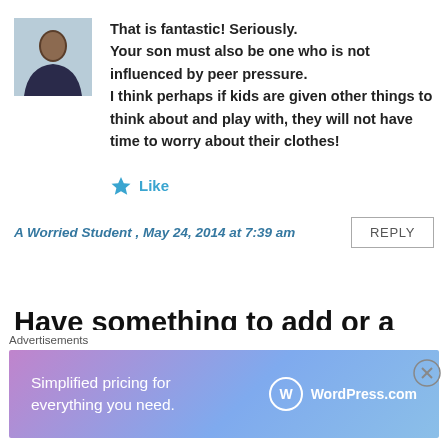[Figure (photo): Avatar photo of a person wearing dark clothing against a light background]
That is fantastic! Seriously.
Your son must also be one who is not influenced by peer pressure.
I think perhaps if kids are given other things to think about and play with, they will not have time to worry about their clothes!
★ Like
A Worried Student , May 24, 2014 at 7:39 am
REPLY
Have something to add or a
Advertisements
[Figure (infographic): WordPress.com advertisement banner: Simplified pricing for everything you need.]